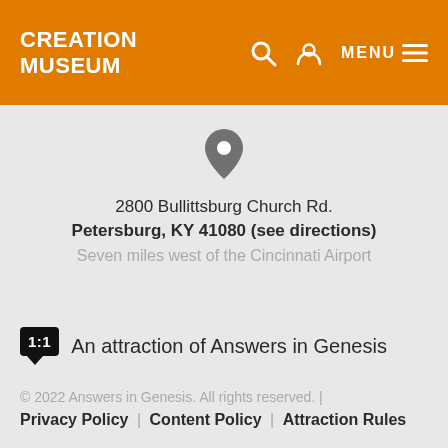CREATION MUSEUM
[Figure (other): Location pin icon (map marker)]
2800 Bullittsburg Church Rd.
Petersburg, KY 41080 (see directions)
Seven miles west of the Cincinnati Airport
1:1 An attraction of Answers in Genesis
© 2022 Answers in Genesis. All rights reserved. | Privacy Policy | Content Policy | Attraction Rules